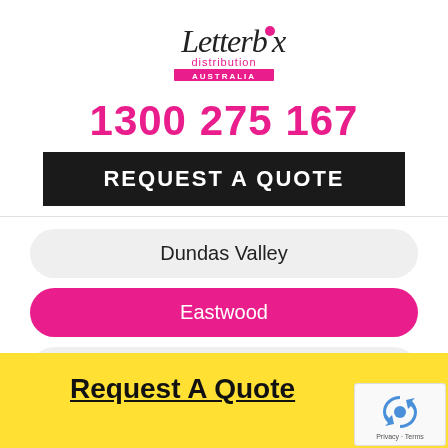[Figure (logo): Letterbox Distribution Australia logo — cursive 'Letterbox' with heart dot on the 'i', 'distribution' and 'AUSTRALIA' text below in pink and navy]
1300 275 167
REQUEST A QUOTE
Dundas Valley
Eastwood
Earlwood
Request A Quote
[Figure (other): Google reCAPTCHA badge with recycling arrows icon and Privacy · Terms text]